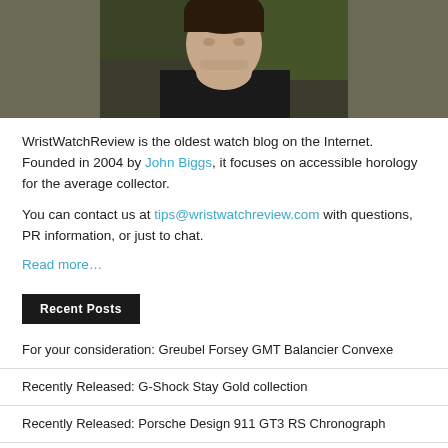[Figure (photo): Portrait photo of a man (John Biggs), cropped to show face/shoulders, dark background with green foliage]
WristWatchReview is the oldest watch blog on the Internet. Founded in 2004 by John Biggs, it focuses on accessible horology for the average collector.
You can contact us at tips@wristwatchreview.com with questions, PR information, or just to chat.
Read more…
Recent Posts
For your consideration: Greubel Forsey GMT Balancier Convexe
Recently Released: G-Shock Stay Gold collection
Recently Released: Porsche Design 911 GT3 RS Chronograph
Introducing: Christopher Ward C60 Trident Pro 300